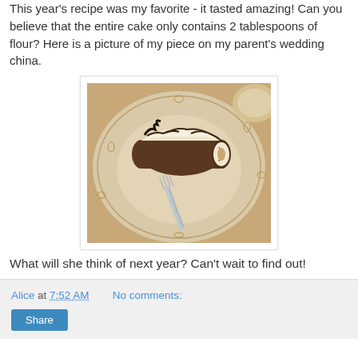This year's recipe was my favorite - it tasted amazing! Can you believe that the entire cake only contains 2 tablespoons of flour? Here is a picture of my piece on my parent's wedding china.
[Figure (photo): A piece of rolled chocolate cake with white cream filling on a decorative china plate, with a fork beside it.]
What will she think of next year? Can't wait to find out!
Alice at 7:52 AM   No comments:   Share